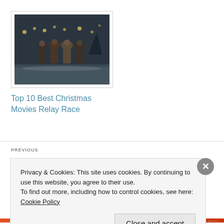[Figure (photo): Movie still showing several figures in dark winter coats standing outdoors in snowy/dark setting with lights in background]
Top 10 Best Christmas Movies Relay Race
PREVIOUS
Privacy & Cookies: This site uses cookies. By continuing to use this website, you agree to their use. To find out more, including how to control cookies, see here: Cookie Policy
Close and accept